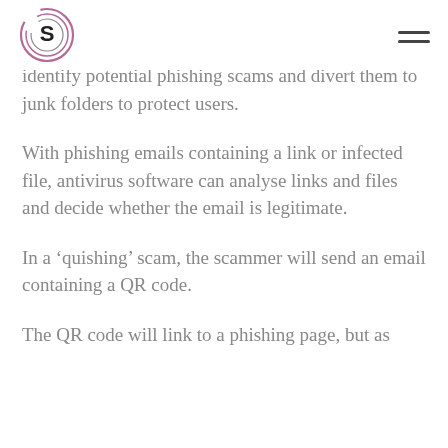S logo and navigation menu
identify potential phishing scams and divert them to junk folders to protect users.
With phishing emails containing a link or infected file, antivirus software can analyse links and files and decide whether the email is legitimate.
In a ‘quishing’ scam, the scammer will send an email containing a QR code.
The QR code will link to a phishing page, but as